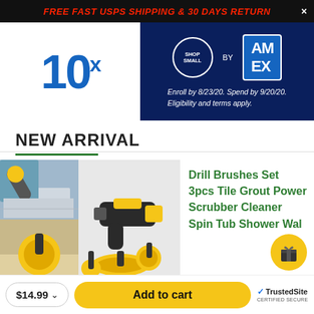FREE FAST USPS SHIPPING & 30 DAYS RETURN ×
[Figure (infographic): 10x points promotion banner with Shop Small by American Express logo. Text: Enroll by 8/23/20. Spend by 9/20/20. Eligibility and terms apply.]
NEW ARRIVAL
[Figure (photo): Product photos showing Drill Brushes Set — yellow drill-powered scrubber brushes, shown in use on tiles and grout. Multiple angles including close-up and full set with drill.]
Drill Brushes Set 3pcs Tile Grout Power Scrubber Cleaner Spin Tub Shower Wal